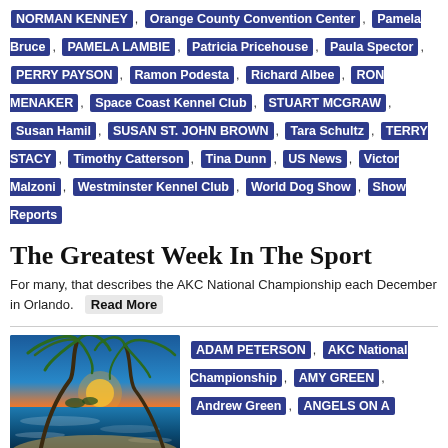NORMAN KENNEY, Orange County Convention Center, Pamela Bruce, PAMELA LAMBIE, Patricia Pricehouse, Paula Spector, PERRY PAYSON, Ramon Podesta, Richard Albee, RON MENAKER, Space Coast Kennel Club, STUART MCGRAW, Susan Hamil, SUSAN ST. JOHN BROWN, Tara Schultz, TERRY STACY, Timothy Catterson, Tina Dunn, US News, Victor Malzoni, Westminster Kennel Club, World Dog Show, Show Reports
The Greatest Week In The Sport
For many, that describes the AKC National Championship each December in Orlando.
Read More
[Figure (photo): Tropical beach sunset with palm trees and ocean waves]
ADAM PETERSON, AKC National Championship, AMY GREEN, Andrew Green, ANGELS ON A